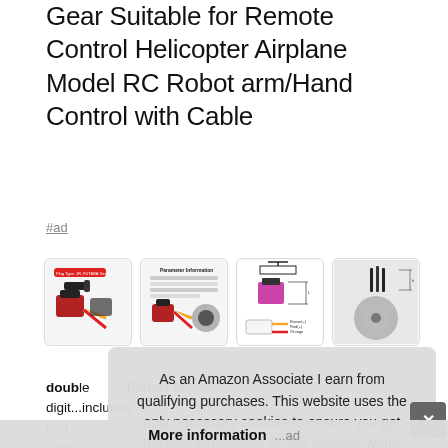Gear Suitable for Remote Control Helicopter Airplane Model RC Robot arm/Hand Control with Cable
#ad
[Figure (photo): Four product thumbnail images of servo motors and gear parts in a horizontal row]
double... Perfect for... digital... includes double motor... weight... cable...
As an Amazon Associate I earn from qualifying purchases. This website uses the only necessary cookies to ensure you get the best experience on our website. More information
More information ...